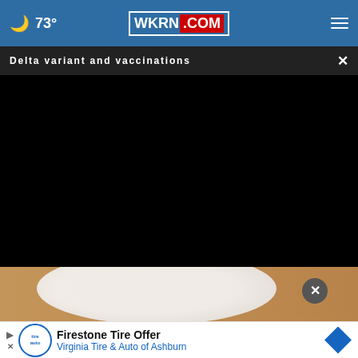73° WKRN.COM
Delta variant and vaccinations
[Figure (screenshot): Black video player area (video content not visible)]
[Figure (photo): Partial photo of a white bowl or plate on a wooden surface, partially visible below video]
Firestone Tire Offer
Virginia Tire & Auto of Ashburn